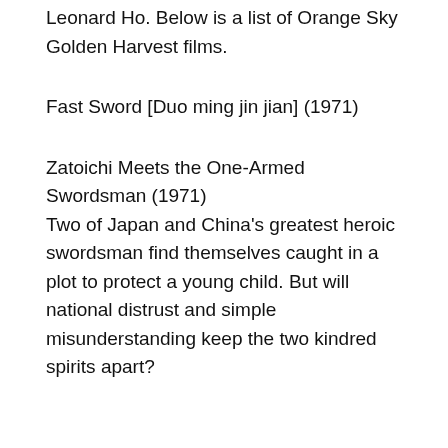Leonard Ho. Below is a list of Orange Sky Golden Harvest films.
Fast Sword [Duo ming jin jian] (1971)
Zatoichi Meets the One-Armed Swordsman (1971)
Two of Japan and China's greatest heroic swordsman find themselves caught in a plot to protect a young child. But will national distrust and simple misunderstanding keep the two kindred spirits apart?